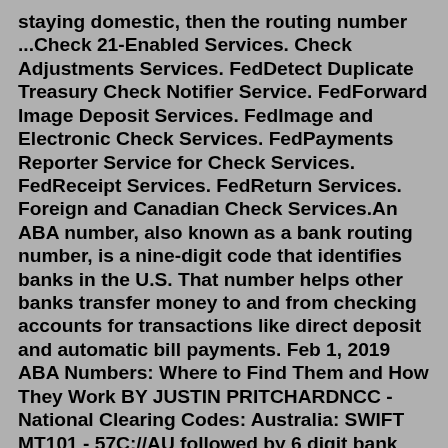staying domestic, then the routing number ...Check 21-Enabled Services. Check Adjustments Services. FedDetect Duplicate Treasury Check Notifier Service. FedForward Image Deposit Services. FedImage and Electronic Check Services. FedPayments Reporter Service for Check Services. FedReceipt Services. FedReturn Services. Foreign and Canadian Check Services.An ABA number, also known as a bank routing number, is a nine-digit code that identifies banks in the U.S. That number helps other banks transfer money to and from checking accounts for transactions like direct deposit and automatic bill payments. Feb 1, 2019 ABA Numbers: Where to Find Them and How They Work BY JUSTIN PRITCHARDNCC - National Clearing Codes: Australia: SWIFT MT101 - 57C://AU followed by 6 digit bank code, no spaces. ISO20022 PAIN.001 - AUBSB (Australian Bank State Branch Code) followed by the 6 digit bank code, no spaces. Canada: SWIFT MT101 - 57C://CC followed by 9 digit bank code, no spaces. ISO20022 PAIN.001 - CACPA